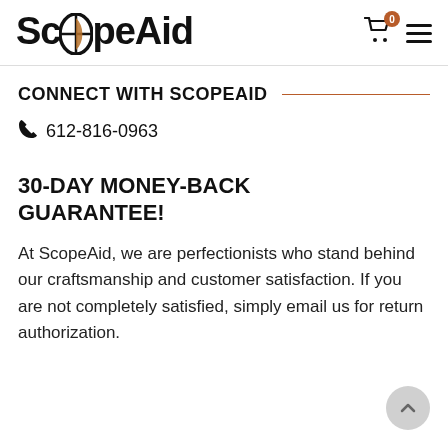[Figure (logo): ScopeAid logo with stylized scope crosshair replacing the 'o' in Scope]
CONNECT WITH SCOPEAID
📞 612-816-0963
30-DAY MONEY-BACK GUARANTEE!
At ScopeAid, we are perfectionists who stand behind our craftsmanship and customer satisfaction. If you are not completely satisfied, simply email us for return authorization.